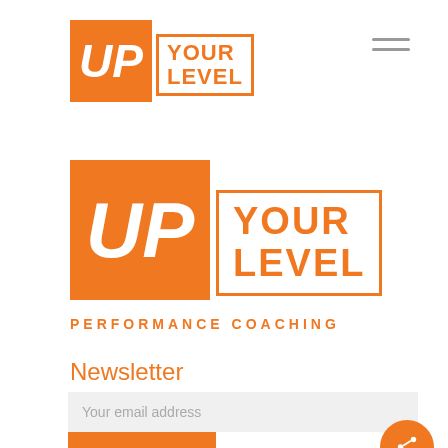[Figure (logo): Up Your Level Performance Coaching logo - small version in header, orange square with UP text and outlined YOUR LEVEL box]
[Figure (logo): Up Your Level Performance Coaching logo - large version, orange square with UP text and outlined YOUR LEVEL box, with PERFORMANCE COACHING tagline below]
Newsletter
Your email address
Subscribe